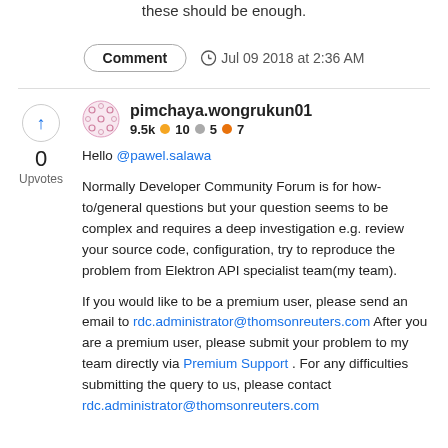these should be enough.
Comment   Jul 09 2018 at 2:36 AM
pimchaya.wongrukun01
9.5k  10  5  7
Hello @pawel.salawa

Normally Developer Community Forum is for how-to/general questions but your question seems to be complex and requires a deep investigation e.g. review your source code, configuration, try to reproduce the problem from Elektron API specialist team(my team).

If you would like to be a premium user, please send an email to rdc.administrator@thomsonreuters.com After you are a premium user, please submit your problem to my team directly via Premium Support . For any difficulties submitting the query to us, please contact rdc.administrator@thomsonreuters.com